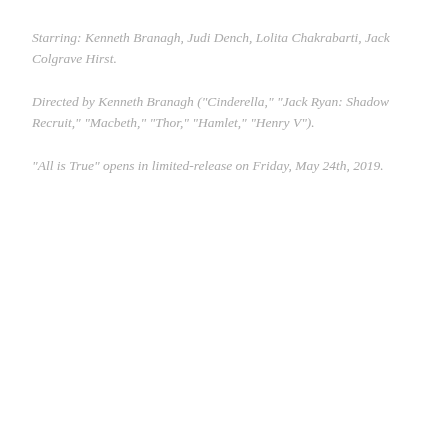Starring: Kenneth Branagh, Judi Dench, Lolita Chakrabarti, Jack Colgrave Hirst.
Directed by Kenneth Branagh ("Cinderella," "Jack Ryan: Shadow Recruit," "Macbeth," "Thor," "Hamlet," "Henry V").
"All is True" opens in limited-release on Friday, May 24th, 2019.